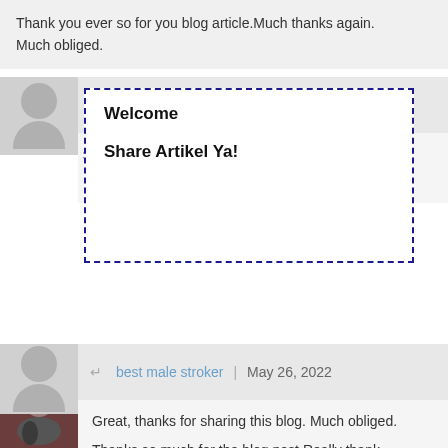Thank you ever so for you blog article.Much thanks again. Much obliged.
penis rings for him | May 25, 2022
Welcome

Share Artikel Ya!
how to give yourself a clitoral orgasm | May 25, 2022
Thanks so much for the blog post.Really thank you! Awesome.
best male stroker | May 26, 2022
Great, thanks for sharing this blog. Much obliged.